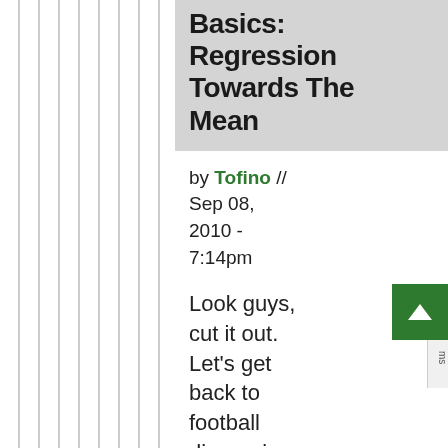Basics: Regression Towards The Mean
by Tofino // Sep 08, 2010 - 7:14pm
Look guys, cut it out. Let's get back to football discussion using proper football